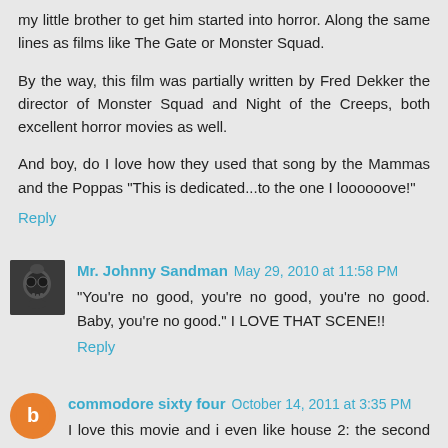my little brother to get him started into horror. Along the same lines as films like The Gate or Monster Squad.
By the way, this film was partially written by Fred Dekker the director of Monster Squad and Night of the Creeps, both excellent horror movies as well.
And boy, do I love how they used that song by the Mammas and the Poppas "This is dedicated...to the one I loooooove!"
Reply
Mr. Johnny Sandman  May 29, 2010 at 11:58 PM
"You're no good, you're no good, you're no good. Baby, you're no good." I LOVE THAT SCENE!!
Reply
commodore sixty four  October 14, 2011 at 3:35 PM
I love this movie and i even like house 2: the second story